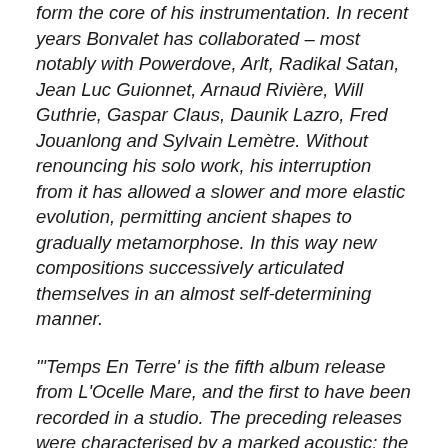form the core of his instrumentation. In recent years Bonvalet has collaborated – most notably with Powerdove, Arlt, Radikal Satan, Jean Luc Guionnet, Arnaud Rivière, Will Guthrie, Gaspar Claus, Daunik Lazro, Fred Jouanlong and Sylvain Lemètre. Without renouncing his solo work, his interruption from it has allowed a slower and more elastic evolution, permitting ancient shapes to gradually metamorphose. In this way new compositions successively articulated themselves in an almost self-determining manner.
"'Temps En Terre' is the fifth album release from L'Ocelle Mare, and the first to have been recorded in a studio. The preceding releases were characterised by a marked acoustic: the echoey reverberations inherent to 'Serpentement' were thanks to the Protestant temple it was recorded in; 'Engourdissement' was entirely recorded